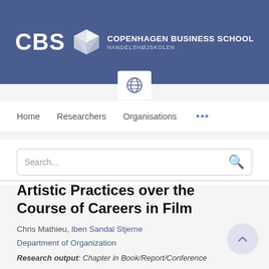[Figure (logo): Copenhagen Business School (CBS) logo with institution name and diamond graphic on blue banner background]
Home   Researchers   Organisations   ...
Search...
Artistic Practices over the Course of Careers in Film
Chris Mathieu, Iben Sandal Stjerne
Department of Organization
Research output: Chapter in Book/Report/Conference